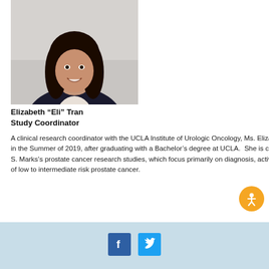[Figure (photo): Headshot photo of Elizabeth 'Eli' Tran, a young woman with long dark hair, smiling, wearing a dark blazer]
Elizabeth “Eli” Tran
Study Coordinator
A clinical research coordinator with the UCLA Institute of Urologic Oncology, Ms. Elizabeth (Eli) Tran joined the team in the Summer of 2019, after graduating with a Bachelor’s degree at UCLA.  She is currently assisting Dr. Leonard S. Marks’s prostate cancer research studies, which focus primarily on diagnosis, active surveillance, and treatment of low to intermediate risk prostate cancer.
[Figure (other): Accessibility icon button - orange circle with white person figure (wheelchair accessibility symbol)]
Facebook and Twitter social media icons